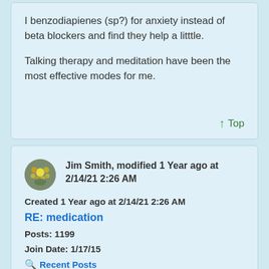I benzodiapienes (sp?) for anxiety instead of beta blockers and find they help a litttle.

Talking therapy and meditation have been the most effective modes for me.
↑ Top
Jim Smith, modified 1 Year ago at 2/14/21 2:26 AM
Created 1 Year ago at 2/14/21 2:26 AM
RE: medication
Posts: 1199
Join Date: 1/17/15
Recent Posts